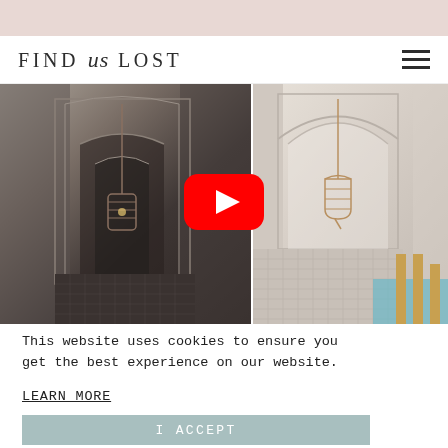FIND us LOST
[Figure (photo): Website screenshot showing 'Find us Lost' travel blog. Navigation bar with logo and hamburger menu. Main content shows two Moroccan-style interior photos with arched doorways and hanging lanterns, with a YouTube play button overlay. Cookie consent notice at bottom left with 'I ACCEPT' button.]
This website uses cookies to ensure you get the best experience on our website.
LEARN MORE
I ACCEPT